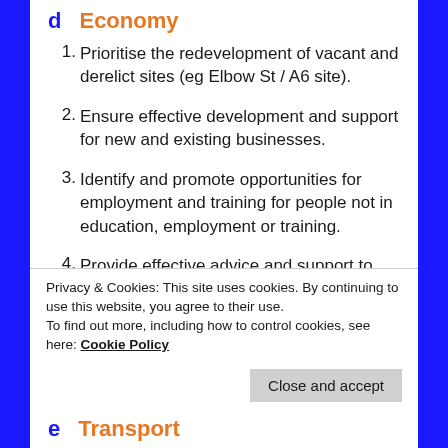d  Economy
Prioritise the redevelopment of vacant and derelict sites (eg Elbow St / A6 site).
Ensure effective development and support for new and existing businesses.
Identify and promote opportunities for employment and training for people not in education, employment or training.
Provide effective advice and support to not for profit projects to ensure sustainability and that commercial
Privacy & Cookies: This site uses cookies. By continuing to use this website, you agree to their use.
To find out more, including how to control cookies, see here: Cookie Policy
e  Transport